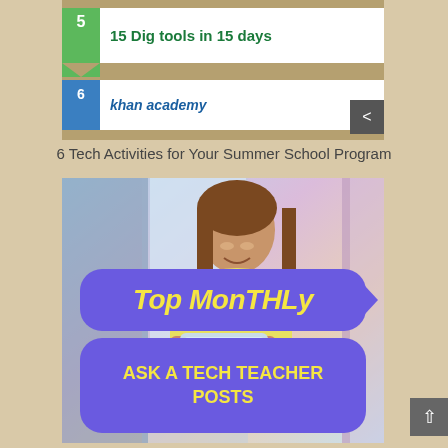[Figure (infographic): Top portion of a card showing numbered list items: item 5 '15 Dig tools in 15 days' and item 6 'khan academy' with green and blue arrow badges]
6 Tech Activities for Your Summer School Program
[Figure (photo): Young woman smiling and looking down at a tablet device, standing in a bright corridor. Overlaid with two speech bubble graphics: one saying 'TOP MONTHLY' in yellow italic text on a purple background, and another saying 'ASK A TECH TEACHER POSTS' in bold yellow text on a purple background.]